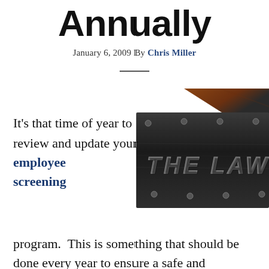Annually
January 6, 2009 By Chris Miller
[Figure (photo): Close-up photo of a metallic law sign with rivets, showing embossed text 'THE LAW' on a dark brushed metal plate with a brown/wood background]
It’s that time of year to review and update your employee screening program.  This is something that should be done every year to ensure a safe and compliant